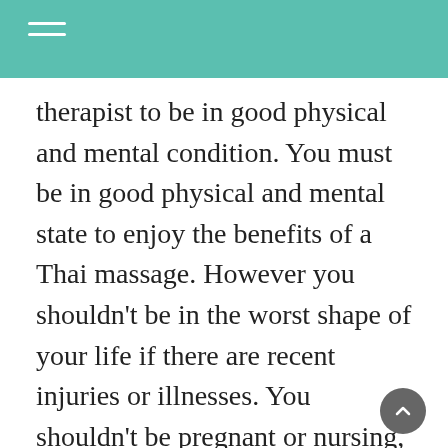therapist to be in good physical and mental condition. You must be in good physical and mental state to enjoy the benefits of a Thai massage. However you shouldn’t be in the worst shape of your life if there are recent injuries or illnesses. You shouldn’t be pregnant or nursing, and you should not smoke unless you are using a non-tobacco oil that you apply to your skin fingertips.
Thai massage Therapists are trained to become extremely gentle and calm. It is not necessary to feel discomfort or pain from their techniques. Thai massage therapists